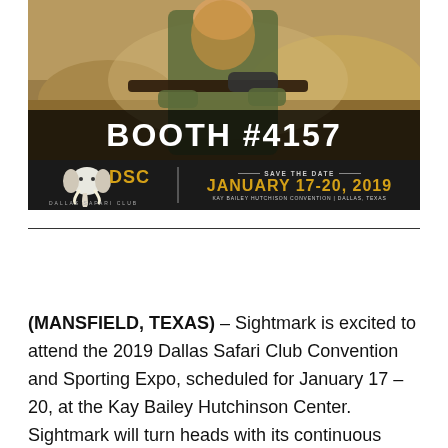[Figure (photo): Advertisement for DSC (Dallas Safari Club) 2019 Convention. Top portion shows a woman hunter in camouflage gear holding a rifle with a scope, outdoors. Bold white text overlay reads 'BOOTH #4157'. Bottom black bar shows the DSC logo with elephant head icon on the left, and on the right 'SAVE THE DATE' with 'JANUARY 17-20, 2019' in gold lettering, and 'KAY BAILEY HUTCHISON CONVENTION | DALLAS, TEXAS' below.]
(MANSFIELD, TEXAS) – Sightmark is excited to attend the 2019 Dallas Safari Club Convention and Sporting Expo, scheduled for January 17 – 20, at the Kay Bailey Hutchinson Center. Sightmark will turn heads with its continuous